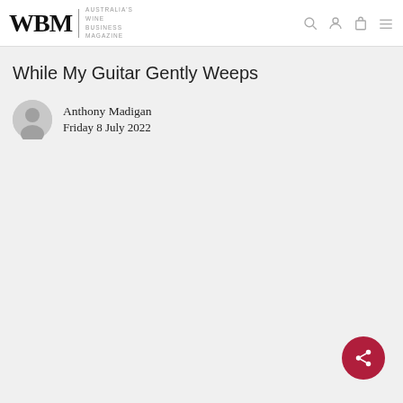WBM | Australia's Wine Business Magazine
While My Guitar Gently Weeps
Anthony Madigan
Friday 8 July 2022